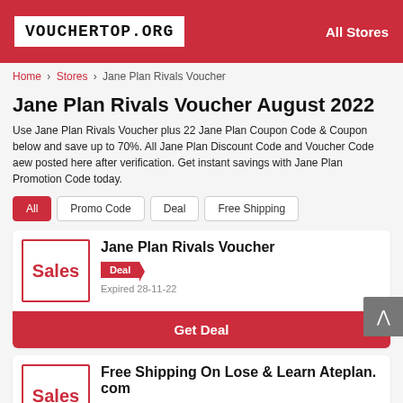VOUCHERTOP.ORG — All Stores
Home > Stores > Jane Plan Rivals Voucher
Jane Plan Rivals Voucher August 2022
Use Jane Plan Rivals Voucher plus 22 Jane Plan Coupon Code & Coupon below and save up to 70%. All Jane Plan Discount Code and Voucher Code aew posted here after verification. Get instant savings with Jane Plan Promotion Code today.
All
Promo Code
Deal
Free Shipping
Sales — Jane Plan Rivals Voucher — Deal — Expired 28-11-22 — Get Deal
Sales — Free Shipping On Lose & Learn Ateplan.com — Promo Code